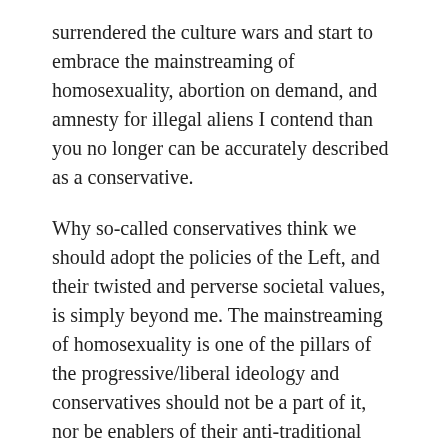surrendered the culture wars and start to embrace the mainstreaming of homosexuality, abortion on demand, and amnesty for illegal aliens I contend than you no longer can be accurately described as a conservative.
Why so-called conservatives think we should adopt the policies of the Left, and their twisted and perverse societal values, is simply beyond me. The mainstreaming of homosexuality is one of the pillars of the progressive/liberal ideology and conservatives should not be a part of it, nor be enablers of their anti-traditional family agenda. By doing so one only plays into their hands. Civil unions is little more than gay marriage “lite” and in effect just a way of playing semantics to attain their ultimate goals.
It is just another weapon in the arsenal of those seeking to undermine the traditional family structure and is an important part of the progressive agenda. All the talk of healthcare, mutual property, taxes and other legal aspects is a mere smokescreen for the agenda of societal acceptance and